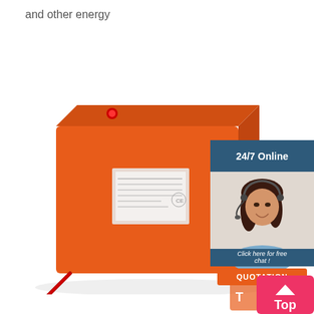and other energy
[Figure (photo): Orange rectangular battery/power unit with cables and a label on the front, photographed on white background]
[Figure (infographic): Customer support widget: dark blue/teal background with '24/7 Online' text, photo of smiling woman with headset, 'Click here for free chat!' text, and orange 'QUOTATION' button]
[Figure (infographic): Pink/red 'Top' scroll-to-top button with upward caret arrow icon, partially overlapping a small icon]